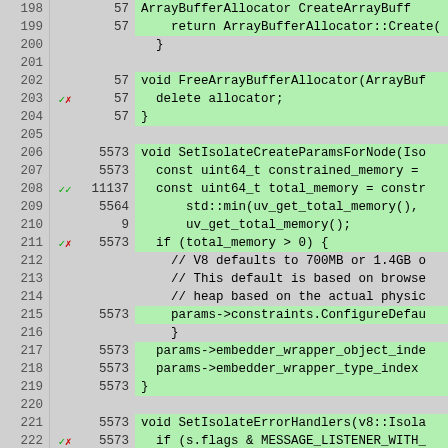[Figure (screenshot): Code coverage viewer showing C++ source lines 198-224 with line numbers, hit counts, coverage marks, and highlighted code. Green rows indicate covered lines, gray rows indicate uncovered or blank lines. Coverage marks show checkmarks and X symbols.]